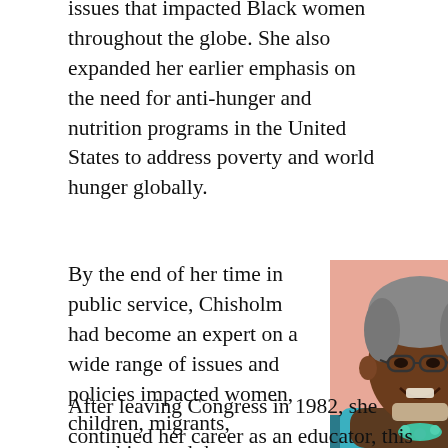issues that impacted Black women throughout the globe. She also expanded her earlier emphasis on the need for anti-hunger and nutrition programs in the United States to address poverty and world hunger globally.
By the end of her time in public service, Chisholm had become an expert on a wide range of issues and policies impacted women, children, migrants, nonwhites and the poor throughout the world.
[Figure (photo): Portrait photo of an elderly Black woman with gray hair, glasses, wearing a teal/turquoise blouse with jewelry, smiling.]
Image Credit: The National Visionary Leadership Project
After leaving Congress in 1982, she continued her career as an educator, this time as a professor at Mt. Holyoke College (and temporarily Spelman College)...